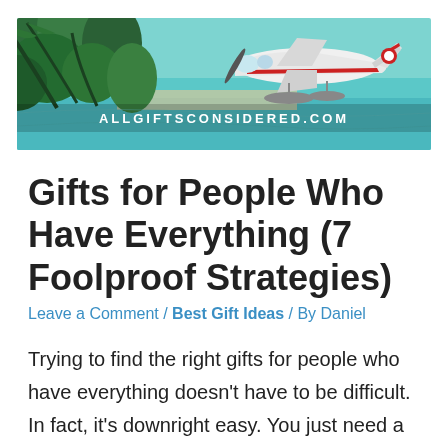[Figure (photo): Banner image showing a tropical beach with palm trees on the left and a seaplane on the right, with turquoise water. Text overlay reads ALLGIFTSCONSIDERED.COM]
Gifts for People Who Have Everything (7 Foolproof Strategies)
Leave a Comment / Best Gift Ideas / By Daniel
Trying to find the right gifts for people who have everything doesn't have to be difficult. In fact, it's downright easy. You just need a few strategic tips, the…